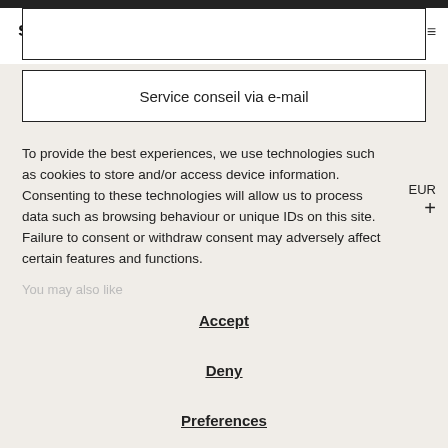savannah bay gallery | Service conseil via WhatsApp | 0
Service conseil via e-mail
To provide the best experiences, we use technologies such as cookies to store and/or access device information. Consenting to these technologies will allow us to process data such as browsing behaviour or unique IDs on this site. Failure to consent or withdraw consent may adversely affect certain features and functions.
You may also like
EUR +
Accept
Deny
Preferences